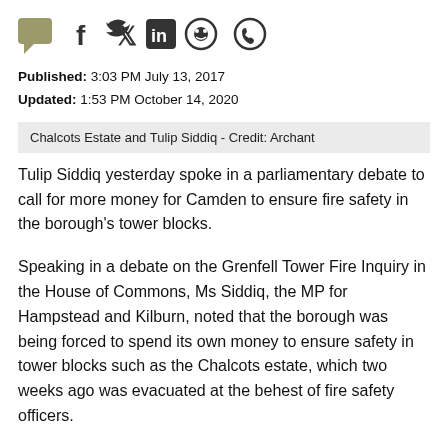[Figure (other): Social media sharing icons: chat/comment bubble, Facebook, Twitter, LinkedIn, Reddit, WhatsApp]
Published: 3:03 PM July 13, 2017
Updated: 1:53 PM October 14, 2020
Chalcots Estate and Tulip Siddiq - Credit: Archant
Tulip Siddiq yesterday spoke in a parliamentary debate to call for more money for Camden to ensure fire safety in the borough's tower blocks.
Speaking in a debate on the Grenfell Tower Fire Inquiry in the House of Commons, Ms Siddiq, the MP for Hampstead and Kilburn, noted that the borough was being forced to spend its own money to ensure safety in tower blocks such as the Chalcots estate, which two weeks ago was evacuated at the behest of fire safety officers.